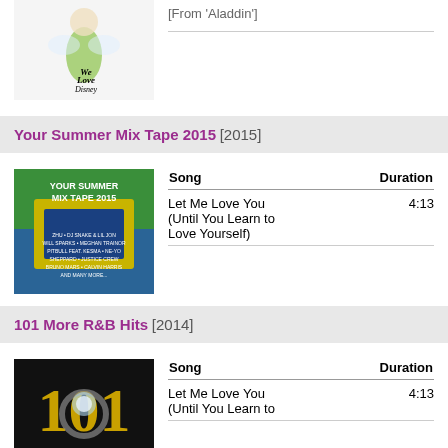[Figure (illustration): We Love Disney album art with Tinker Bell illustration at top of page (partially visible)]
[From 'Aladdin']
Your Summer Mix Tape 2015 [2015]
[Figure (illustration): Your Summer Mix Tape 2015 album cover with colorful text listing artist names]
| Song | Duration |
| --- | --- |
| Let Me Love You (Until You Learn to Love Yourself) | 4:13 |
101 More R&B Hits [2014]
[Figure (illustration): 101 More R&B Hits album cover showing the number 101 with a diamond ring]
| Song | Duration |
| --- | --- |
| Let Me Love You (Until You Learn to | 4:13 |